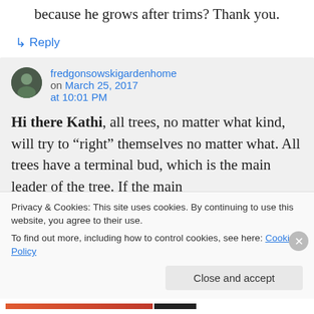because he grows after trims? Thank you.
↳ Reply
fredgonsowskigardenhome on March 25, 2017 at 10:01 PM
Hi there Kathi, all trees, no matter what kind, will try to “right” themselves no matter what. All trees have a terminal bud, which is the main leader of the tree. If the main
Privacy & Cookies: This site uses cookies. By continuing to use this website, you agree to their use.
To find out more, including how to control cookies, see here: Cookie Policy